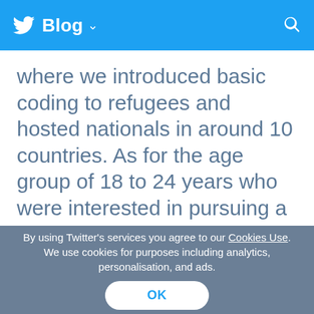Blog
where we introduced basic coding to refugees and hosted nationals in around 10 countries. As for the age group of 18 to 24 years who were interested in pursuing a career in IT, we started a 16 week coding bootcamp. So far we have 483
By using Twitter’s services you agree to our Cookies Use. We use cookies for purposes including analytics, personalisation, and ads.
OK